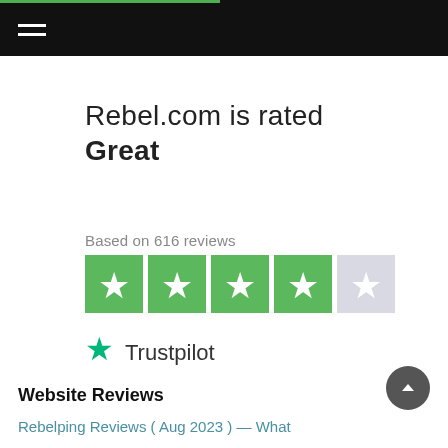Rebel.com is rated Great
Based on 616 reviews
[Figure (other): Trustpilot 4-star rating widget: four green star boxes and one gray star box, followed by a teal Trustpilot star icon and the word 'Trustpilot']
Website Reviews
Rebelping Reviews (Aug 2023) — What